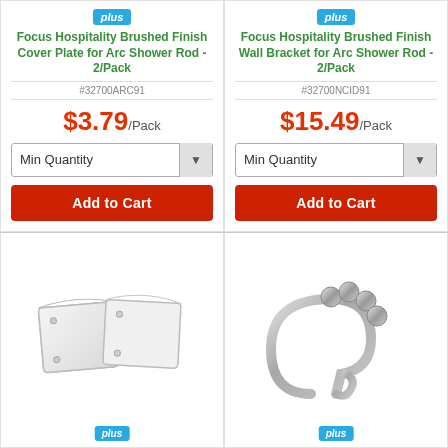[Figure (photo): Product listing card: Focus Hospitality Brushed Finish Cover Plate for Arc Shower Rod - 2/Pack, SKU #32700ARC91, price $3.79/Pack, with Min Quantity dropdown and Add to Cart button]
[Figure (photo): Product listing card: Focus Hospitality Brushed Finish Wall Bracket for Arc Shower Rod - 2/Pack, SKU #32700NCID91, price $15.49/Pack, with Min Quantity dropdown and Add to Cart button]
[Figure (photo): Product image: two white brushed finish cover plates for arc shower rod]
[Figure (photo): Product image: chrome/silver shower curtain ring hook with ball bearings at top]